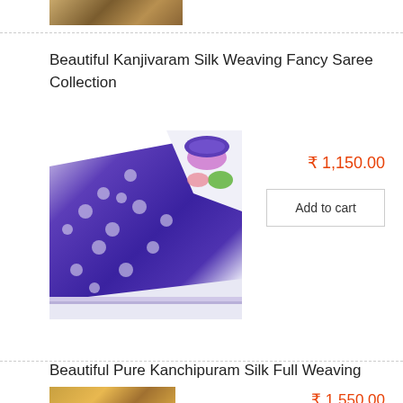[Figure (photo): Partial product image at top of page (cropped saree or fabric product)]
Beautiful Kanjivaram Silk Weaving Fancy Saree Collection
[Figure (photo): Purple Kanjivaram silk saree with silver motifs and floral border, folded diagonally]
₹ 1,150.00
Add to cart
Beautiful Pure Kanchipuram Silk Full Weaving Saree
[Figure (photo): Partial product image at bottom of page (cropped saree)]
₹ 1,550.00